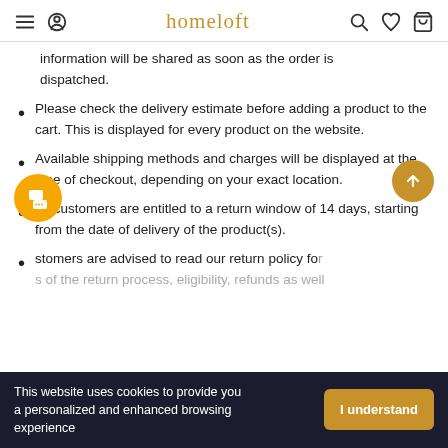homeloft
information will be shared as soon as the order is dispatched.
Please check the delivery estimate before adding a product to the cart. This is displayed for every product on the website.
Available shipping methods and charges will be displayed at the time of checkout, depending on your exact location.
All customers are entitled to a return window of 14 days, starting from the date of delivery of the product(s).
Customers are advised to read our return policy for details of the return process, eligibility, refunds as well
This website uses cookies to provide you a personalized and enhanced browsing experience